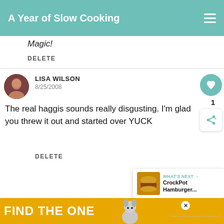A Year of Slow Cooking
Magic!
DELETE
LISA WILSON
8/25/2008
The real haggis sounds really disgusting. I'm glad you threw it out and started over YUCK
DELETE
[Figure (screenshot): WHAT'S NEXT arrow label with CrockPot Hamburger... thumbnail]
[Figure (screenshot): Advertisement banner: FIND THE ONE with dog image]